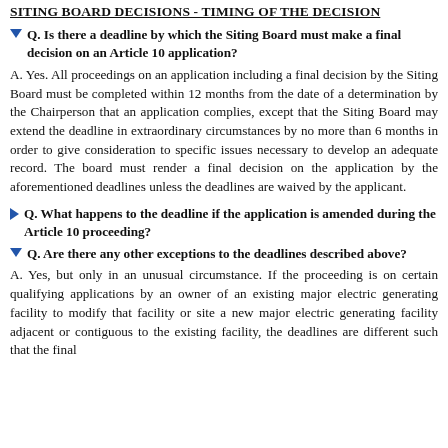SITING BOARD DECISIONS - TIMING OF THE DECISION
Q. Is there a deadline by which the Siting Board must make a final decision on an Article 10 application?
A. Yes. All proceedings on an application including a final decision by the Siting Board must be completed within 12 months from the date of a determination by the Chairperson that an application complies, except that the Siting Board may extend the deadline in extraordinary circumstances by no more than 6 months in order to give consideration to specific issues necessary to develop an adequate record. The board must render a final decision on the application by the aforementioned deadlines unless the deadlines are waived by the applicant.
Q. What happens to the deadline if the application is amended during the Article 10 proceeding?
Q. Are there any other exceptions to the deadlines described above?
A. Yes, but only in an unusual circumstance. If the proceeding is on certain qualifying applications by an owner of an existing major electric generating facility to modify that facility or site a new major electric generating facility adjacent or contiguous to the existing facility, the deadlines are different such that the final